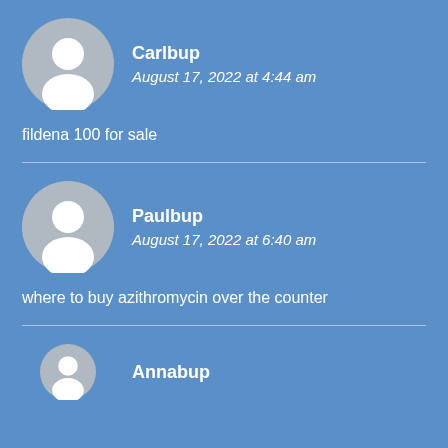[Figure (illustration): Gray avatar circle icon for user Carlbup]
Carlbup
August 17, 2022 at 4:44 am
fildena 100 for sale
[Figure (illustration): Gray avatar circle icon for user Paulbup]
Paulbup
August 17, 2022 at 6:40 am
where to buy azithromycin over the counter
[Figure (illustration): Gray avatar circle icon partially visible for user Annabup]
Annabup